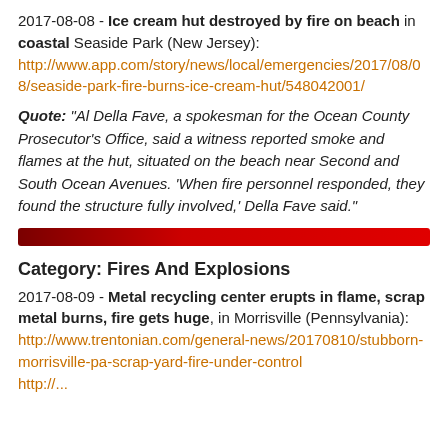2017-08-08 - Ice cream hut destroyed by fire on beach in coastal Seaside Park (New Jersey): http://www.app.com/story/news/local/emergencies/2017/08/08/seaside-park-fire-burns-ice-cream-hut/548042001/
Quote: "Al Della Fave, a spokesman for the Ocean County Prosecutor's Office, said a witness reported smoke and flames at the hut, situated on the beach near Second and South Ocean Avenues. 'When fire personnel responded, they found the structure fully involved,' Della Fave said."
[Figure (other): Dark red horizontal divider bar]
Category: Fires And Explosions
2017-08-09 - Metal recycling center erupts in flame, scrap metal burns, fire gets huge, in Morrisville (Pennsylvania): http://www.trentonian.com/general-news/20170810/stubborn-morrisville-pa-scrap-yard-fire-under-control